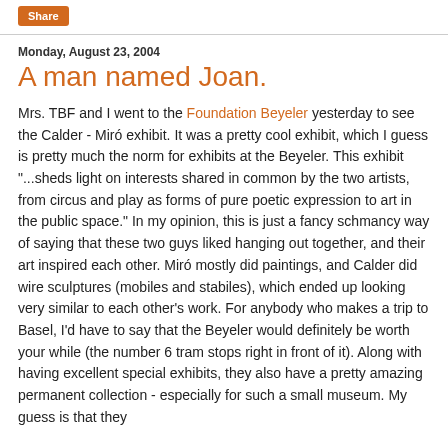Share
Monday, August 23, 2004
A man named Joan.
Mrs. TBF and I went to the Foundation Beyeler yesterday to see the Calder - Miró exhibit. It was a pretty cool exhibit, which I guess is pretty much the norm for exhibits at the Beyeler. This exhibit "...sheds light on interests shared in common by the two artists, from circus and play as forms of pure poetic expression to art in the public space." In my opinion, this is just a fancy schmancy way of saying that these two guys liked hanging out together, and their art inspired each other. Miró mostly did paintings, and Calder did wire sculptures (mobiles and stabiles), which ended up looking very similar to each other's work. For anybody who makes a trip to Basel, I'd have to say that the Beyeler would definitely be worth your while (the number 6 tram stops right in front of it). Along with having excellent special exhibits, they also have a pretty amazing permanent collection - especially for such a small museum. My guess is that they probably have about 30 Picassos alone, with Monet, Klee,